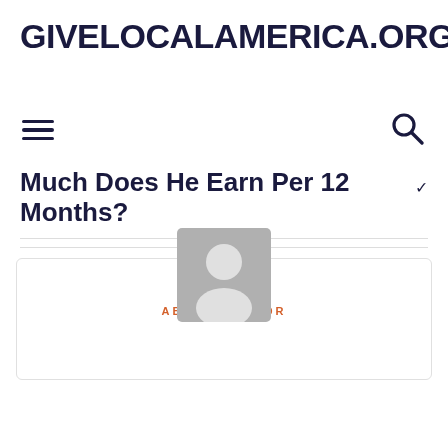GIVELOCALAMERICA.ORG
JUST ANOTHER BLOG SITE
Much Does He Earn Per 12 Months?
[Figure (illustration): Default author avatar placeholder image showing silhouette of a person, grey background]
ABOUT AUTHOR